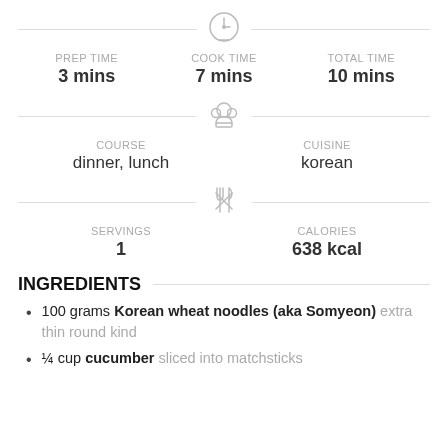[Figure (infographic): Timer icon centered between two horizontal divider lines]
PREP TIME 3 mins | COOK TIME 7 mins | TOTAL TIME 10 mins
[Figure (infographic): Chef hat icon centered between two horizontal divider lines]
COURSE dinner, lunch | CUISINE korean
[Figure (infographic): Fork and knife cross icon centered between two horizontal divider lines]
SERVINGS 1 | CALORIES 638 kcal
INGREDIENTS
100 grams Korean wheat noodles (aka Somyeon) extra thin round kind
¼ cup cucumber sliced into matchsticks